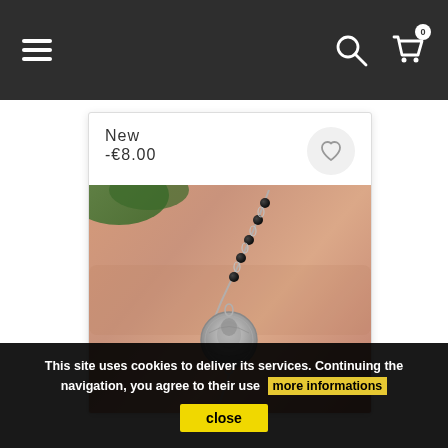Navigation bar with hamburger menu, search icon, and cart icon with badge 0
New
-€8.00
[Figure (photo): Close-up photo of a wrist wearing a bracelet with black beads and a silver coin pendant with a profile portrait engraved on it]
This site uses cookies to deliver its services. Continuing the navigation, you agree to their use more informations
close